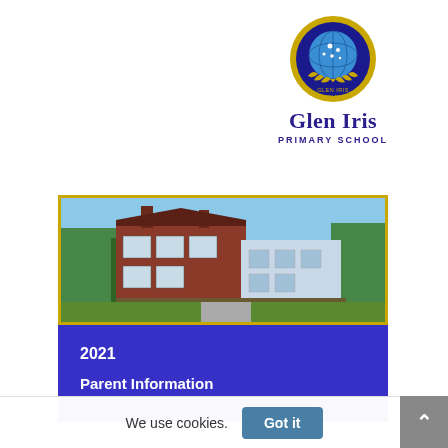[Figure (logo): Glen Iris Primary School circular crest logo with blue globe, gold laurel wreath, and stars]
Glen Iris PRIMARY SCHOOL
[Figure (photo): Exterior photograph of Glen Iris Primary School building - red brick building with chimneys, large windows, surrounded by trees]
2021
Parent Information
We use cookies.